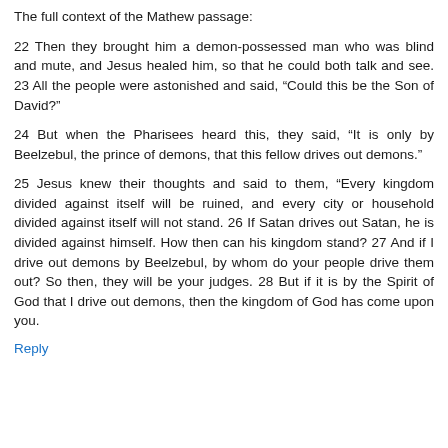The full context of the Mathew passage:
22 Then they brought him a demon-possessed man who was blind and mute, and Jesus healed him, so that he could both talk and see. 23 All the people were astonished and said, “Could this be the Son of David?”
24 But when the Pharisees heard this, they said, “It is only by Beelzebul, the prince of demons, that this fellow drives out demons.”
25 Jesus knew their thoughts and said to them, “Every kingdom divided against itself will be ruined, and every city or household divided against itself will not stand. 26 If Satan drives out Satan, he is divided against himself. How then can his kingdom stand? 27 And if I drive out demons by Beelzebul, by whom do your people drive them out? So then, they will be your judges. 28 But if it is by the Spirit of God that I drive out demons, then the kingdom of God has come upon you.
Reply